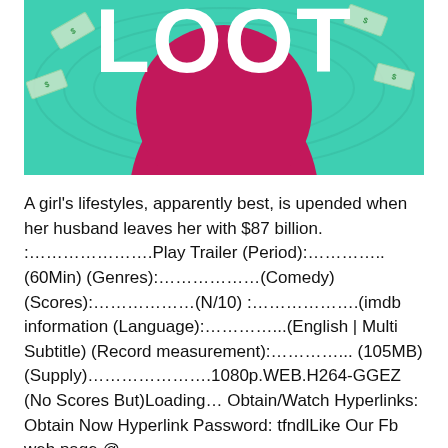[Figure (illustration): Movie poster image for 'Loot' showing large white text 'LOOT' on a teal/green background with a magenta/pink dress figure and scattered dollar bills]
A girl's lifestyles, apparently best, is upended when her husband leaves her with $87 billion. :………………….Play Trailer (Period):………….. (60Min) (Genres):………………(Comedy) (Scores):………………(N/10) :……………….(imdb information (Language):…………...(English | Multi Subtitle) (Record measurement):…………... (105MB) (Supply)………………….1080p.WEB.H264-GGEZ (No Scores But)Loading… Obtain/Watch Hyperlinks: Obtain Now Hyperlink Password: tfndlLike Our Fb web page @